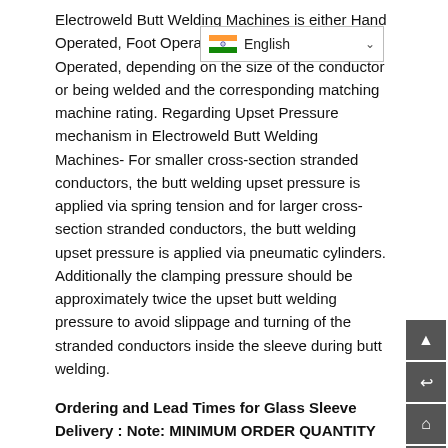Electroweld Butt Welding Machines is either Hand Operated, Foot Operated, Pneumatic Cylinder Operated, depending on the size of the conductor or being welded and the corresponding matching machine rating. Regarding Upset Pressure mechanism in Electroweld Butt Welding Machines- For smaller cross-section stranded conductors, the butt welding upset pressure is applied via spring tension and for larger cross-section stranded conductors, the butt welding upset pressure is applied via pneumatic cylinders. Additionally the clamping pressure should be approximately twice the upset butt welding pressure to avoid slippage and turning of the stranded conductors inside the sleeve during butt welding.
Ordering and Lead Times for Glass Sleeve Delivery : Note: MINIMUM ORDER QUANTITY (MOQ) FOR GLASS SLEEVES IN ANY PARTICULAR DIMENSION- 100 Qty. Minimum 4-5 Weeks Lead time for Delivery of MOQ. Samples could be made available earlier on request.